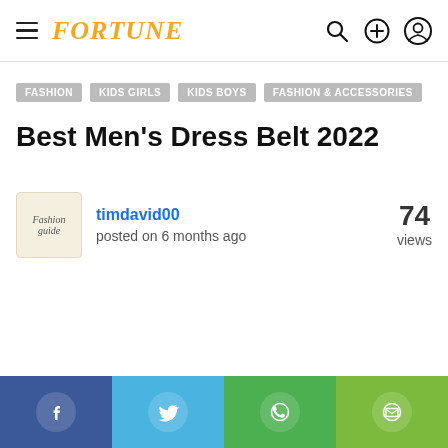FORTUNE
FASHION
KIDS GIRLS
KIDS BOYS
FASHION & ACCESSORIES
Best Men's Dress Belt 2022
timdavid00
posted on 6 months ago
74 views
[Figure (logo): Fashion guide logo, text in italic on cream background]
Social share buttons: Facebook, Twitter, WhatsApp, Email